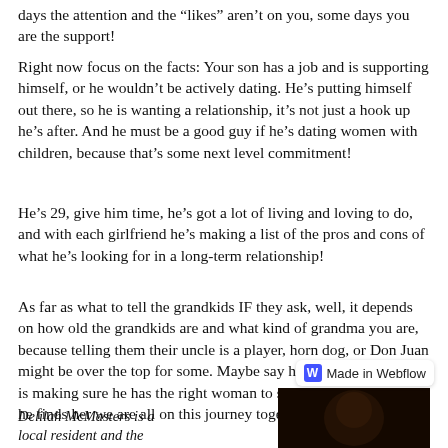days the attention and the “likes” aren’t on you, some days you are the support!
Right now focus on the facts: Your son has a job and is supporting himself, or he wouldn’t be actively dating. He’s putting himself out there, so he is wanting a relationship, it’s not just a hook up he’s after. And he must be a good guy if he’s dating women with children, because that’s some next level commitment!
He’s 29, give him time, he’s got a lot of living and loving to do, and with each girlfriend he’s making a list of the pros and cons of what he’s looking for in a long-term relationship!
As far as what to tell the grandkids IF they ask, well, it depends on how old the grandkids are and what kind of grandma you are, because telling them their uncle is a player, horn dog, or Don Juan might be over the top for some. Maybe say he has a big heart and is making sure he has the right woman to share it with and until he finds her we are all on this journey together!
Delilah McMasters is a local resident and the
[Figure (photo): Dark photo thumbnail at bottom right, appears to be a dimly lit portrait or scene]
Made in Webflow